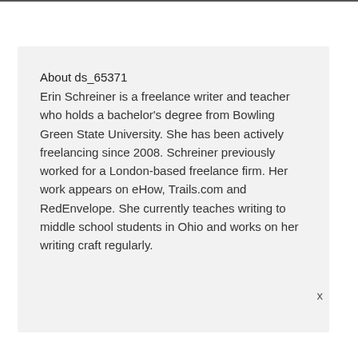About ds_65371
Erin Schreiner is a freelance writer and teacher who holds a bachelor's degree from Bowling Green State University. She has been actively freelancing since 2008. Schreiner previously worked for a London-based freelance firm. Her work appears on eHow, Trails.com and RedEnvelope. She currently teaches writing to middle school students in Ohio and works on her writing craft regularly.